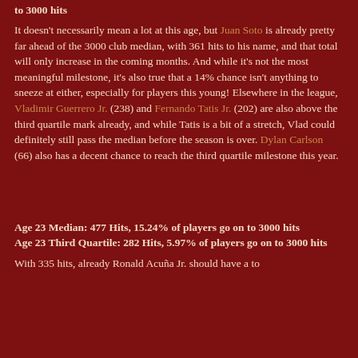to 3000 hits
It doesn't necessarily mean a lot at this age, but Juan Soto is already pretty far ahead of the 3000 club median, with 361 hits to his name, and that total will only increase in the coming months. And while it's not the most meaningful milestone, it's also true that a 14% chance isn't anything to sneeze at either, especially for players this young! Elsewhere in the league, Vladimir Guerrero Jr. (238) and Fernando Tatis Jr. (202) are also above the third quartile mark already, and while Tatis is a bit of a stretch, Vlad could definitely still pass the median before the season is over. Dylan Carlson (66) also has a decent chance to reach the third quartile milestone this year.
Age 23 Median: 477 Hits, 15.24% of players go on to 3000 hits
Age 23 Third Quartile: 282 Hits, 5.97% of players go on to 3000 hits
With 335 hits, already Ronald Acuña Jr. should have a to